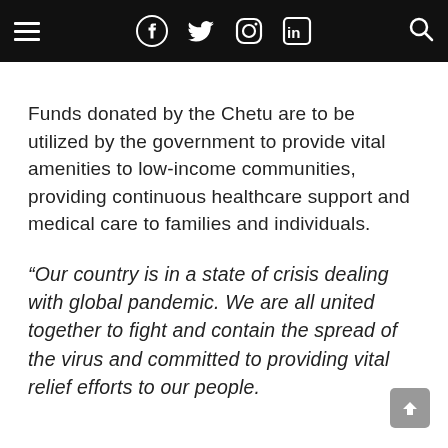Navigation bar with hamburger menu, Facebook, Twitter, Instagram, LinkedIn icons, and search icon
Funds donated by the Chetu are to be utilized by the government to provide vital amenities to low-income communities, providing continuous healthcare support and medical care to families and individuals.
“Our country is in a state of crisis dealing with global pandemic. We are all united together to fight and contain the spread of the virus and committed to providing vital relief efforts to our people.